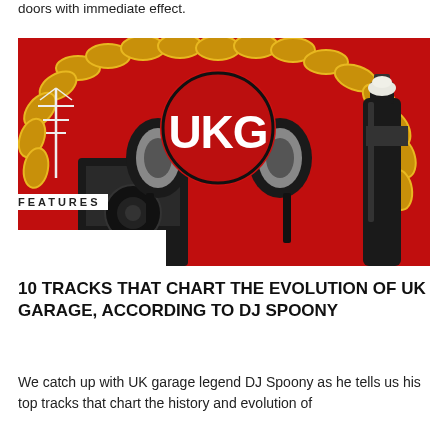doors with immediate effect.
[Figure (illustration): UK Garage (UKG) graphic artwork featuring headphones, a gold chain, a champagne bottle, a speaker tower, and radio antenna on a red background with 'UKG' text in white.]
FEATURES
10 TRACKS THAT CHART THE EVOLUTION OF UK GARAGE, ACCORDING TO DJ SPOONY
We catch up with UK garage legend DJ Spoony as he tells us his top tracks that chart the history and evolution of